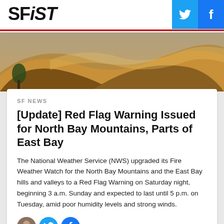SFiST
[Figure (photo): Golden rolling hills with warm sunlit tones, a tree visible on the left side]
SF NEWS
[Update] Red Flag Warning Issued for North Bay Mountains, Parts of East Bay
The National Weather Service (NWS) upgraded its Fire Weather Watch for the North Bay Mountains and the East Bay hills and valleys to a Red Flag Warning on Saturday night, beginning 3 a.m. Sunday and expected to last until 5 p.m. on Tuesday, amid poor humidity levels and strong winds.
OCTOBER 09, 2021